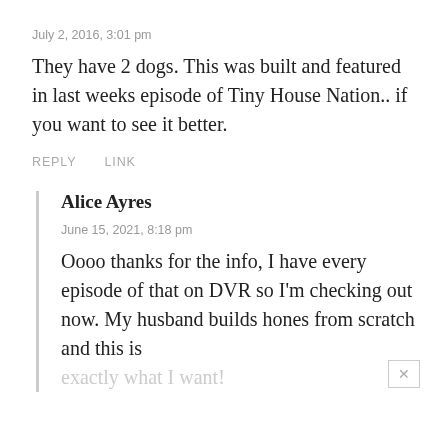July 2, 2016, 3:01 pm
They have 2 dogs. This was built and featured in last weeks episode of Tiny House Nation.. if you want to see it better.
REPLY   LINK
Alice Ayres
June 15, 2021, 8:18 pm
Oooo thanks for the info, I have every episode of that on DVR so I'm checking out now. My husband builds hones from scratch and this is
exactly what I want!